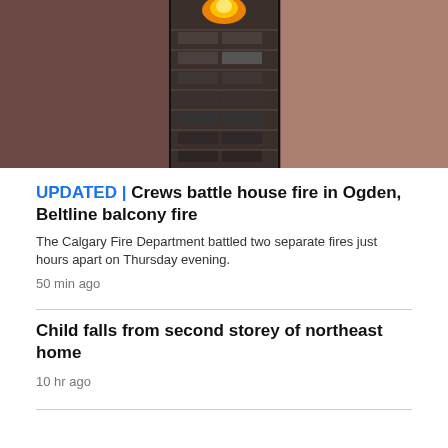[Figure (photo): Nighttime photo of a high-rise apartment building with a fire visible on an upper balcony, flames glowing orange. The image appears to show two panels side by side divided by a dark vertical line — the left panel shows a blurry dark exterior, the center-right shows the building facade with balconies and the fire at top, and the far right shows a beige/brown wall.]
UPDATED | Crews battle house fire in Ogden, Beltline balcony fire
The Calgary Fire Department battled two separate fires just hours apart on Thursday evening.
50 min ago
Child falls from second storey of northeast home
10 hr ago